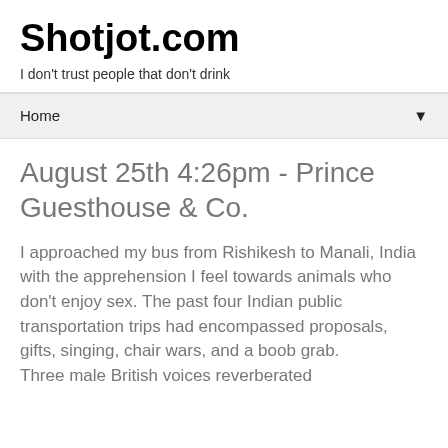Shotjot.com
I don't trust people that don't drink
Home ▼
August 25th 4:26pm - Prince Guesthouse & Co.
I approached my bus from Rishikesh to Manali, India with the apprehension I feel towards animals who don't enjoy sex. The past four Indian public transportation trips had encompassed proposals, gifts, singing, chair wars, and a boob grab.
Three male British voices reverberated